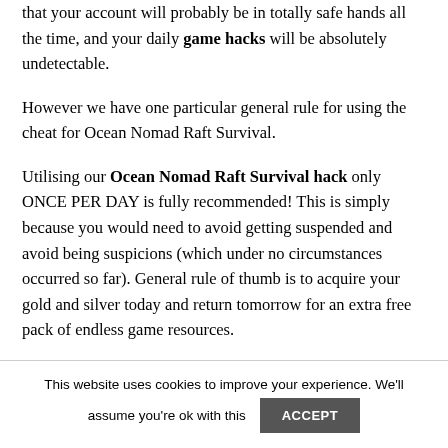that your account will probably be in totally safe hands all the time, and your daily game hacks will be absolutely undetectable.
However we have one particular general rule for using the cheat for Ocean Nomad Raft Survival.
Utilising our Ocean Nomad Raft Survival hack only ONCE PER DAY is fully recommended! This is simply because you would need to avoid getting suspended and avoid being suspicions (which under no circumstances occurred so far). General rule of thumb is to acquire your gold and silver today and return tomorrow for an extra free pack of endless game resources.
This website uses cookies to improve your experience. We'll assume you're ok with this ACCEPT